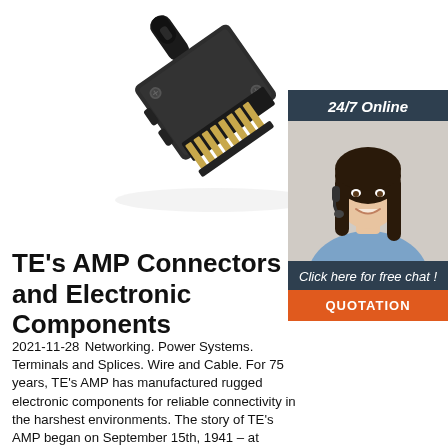[Figure (photo): Black AMP multi-pin electrical connector with gold pins, photographed at an angle on white background]
[Figure (photo): Customer service representative woman with headset smiling, with '24/7 Online' banner above and 'Click here for free chat!' and 'QUOTATION' button overlay]
TE's AMP Connectors and Electronic Components
2021-11-28  Networking. Power Systems. Terminals and Splices. Wire and Cable. For 75 years, TE's AMP has manufactured rugged electronic components for reliable connectivity in the harshest environments. The story of TE's AMP began on September 15th, 1941 – at 3:30pm (EST) to be precise, in a room above a small Greek restaurant in New Jersey.